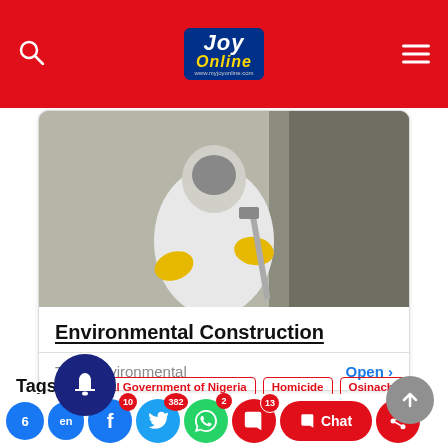JOY Online
[Figure (screenshot): Advertisement card showing a person in white protective suit and yellow gloves spraying a wall, with title 'Environmental Construction' and source 'Total Environmental' and an 'Open >' link button]
Tags: Federal Government of Nigeria   Homicide   Osinachi
Nwachukwu
6   en   10   382   2   13   Chat